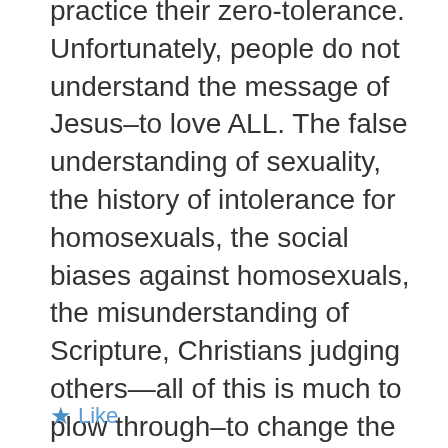practice their zero-tolerance. Unfortunately, people do not understand the message of Jesus–to love ALL. The false understanding of sexuality, the history of intolerance for homosexuals, the social biases against homosexuals, the misunderstanding of Scripture, Christians judging others—all of this is much to plow through–to change the way society thinks about gay people. Guess my response is getting carried away....I am sorry for your son! Keep strong!
★ Like